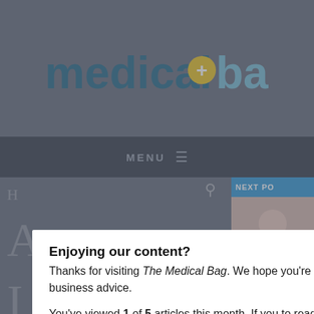[Figure (logo): Medical Bag website logo — 'medical' in dark teal, a yellow circle with plus sign, 'bag' in light blue]
[Figure (screenshot): Dark navigation bar with MENU text and hamburger icon]
Enjoying our content?
Thanks for visiting The Medical Bag. We hope you're enjoying the latest health care news coverage, lifestyle and business advice.

You've viewed 1 of 5 articles this month. If you to read unlimited content, please log in or regis below. Registration is free.
LOGIN
REGISTER